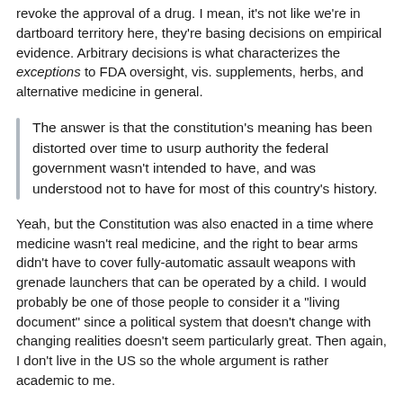revoke the approval of a drug. I mean, it's not like we're in dartboard territory here, they're basing decisions on empirical evidence. Arbitrary decisions is what characterizes the exceptions to FDA oversight, vis. supplements, herbs, and alternative medicine in general.
The answer is that the constitution's meaning has been distorted over time to usurp authority the federal government wasn't intended to have, and was understood not to have for most of this country's history.
Yeah, but the Constitution was also enacted in a time where medicine wasn't real medicine, and the right to bear arms didn't have to cover fully-automatic assault weapons with grenade launchers that can be operated by a child. I would probably be one of those people to consider it a "living document" since a political system that doesn't change with changing realities doesn't seem particularly great. Then again, I don't live in the US so the whole argument is rather academic to me.
MadisonMD → WilliamLawrenceUltridge